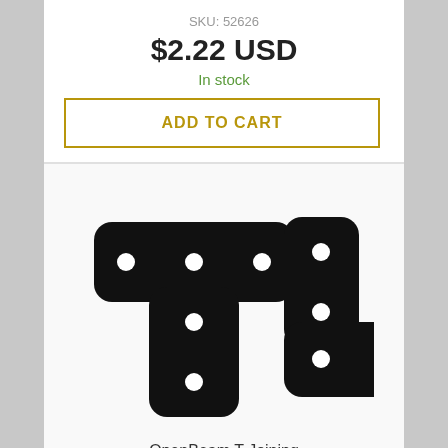SKU: 52626
$2.22 USD
In stock
ADD TO CART
[Figure (photo): Two black anodized aluminum T-shaped joining plates with mounting holes, shown side by side on white background]
OpenBeam T Joining Plate, Anodized